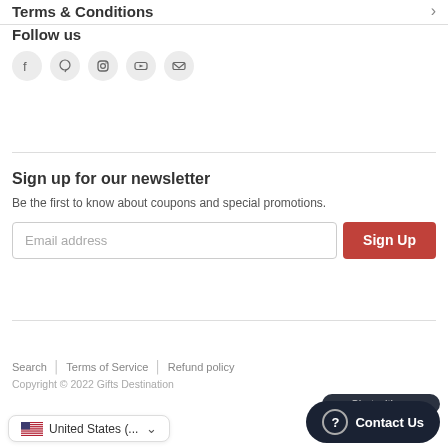Terms & Conditions
Follow us
[Figure (illustration): Social media icons in circles: Facebook, Pinterest, Instagram, YouTube, Email]
Sign up for our newsletter
Be the first to know about coupons and special promotions.
[Figure (screenshot): Email address input field and Sign Up button]
Search | Terms of Service | Refund policy
Copyright © 2022 Gifts Destination
[Figure (screenshot): United States country selector with flag and dropdown arrow]
[Figure (screenshot): Chat with us / Contact Us button in dark rounded pill shape]